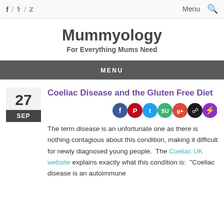f / ℗ / 🐦   Menu 🔍
Mummyology
For Everything Mums Need
MENU
27
SEP
Coeliac Disease and the Gluten Free Diet
The term disease is an unfortunate one as there is nothing contagious about this condition, making it difficult for newly diagnosed young people.  The Coeliac UK website explains exactly what this condition is:  "Coeliac disease is an autoimmune